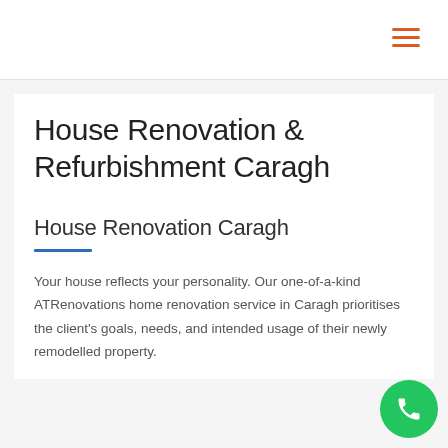House Renovation & Refurbishment Caragh
House Renovation Caragh
Your house reflects your personality. Our one-of-a-kind ATRenovations home renovation service in Caragh prioritises the client's goals, needs, and intended usage of their newly remodelled property.